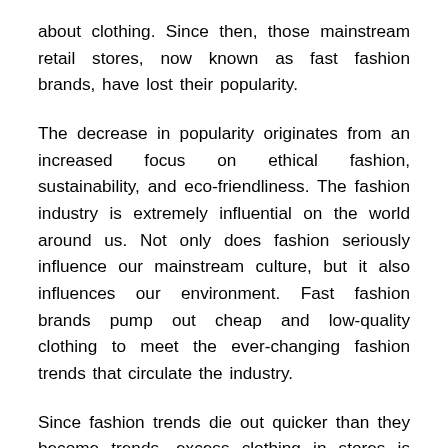about clothing. Since then, those mainstream retail stores, now known as fast fashion brands, have lost their popularity.
The decrease in popularity originates from an increased focus on ethical fashion, sustainability, and eco-friendliness. The fashion industry is extremely influential on the world around us. Not only does fashion seriously influence our mainstream culture, but it also influences our environment. Fast fashion brands pump out cheap and low-quality clothing to meet the ever-changing fashion trends that circulate the industry.
Since fashion trends die out quicker than they become trends, excess clothing in stores is thrown away and taking up major space in our landfills. For the